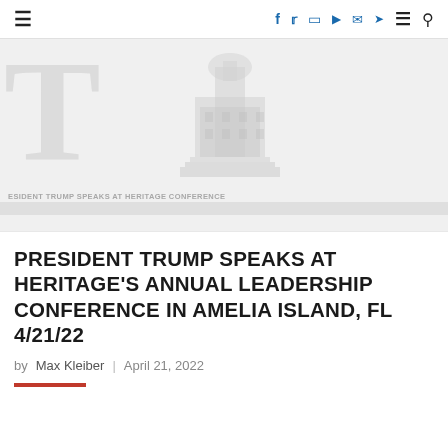≡  f  𝕏  ⊡  ▶  ✉  ✈  ≡  🔍
[Figure (photo): Faded/watermarked image showing large letter T on the left and a building silhouette (resembling the US Capitol or similar landmark) in the center-right, with text overlay reading 'ESIDENT TRUMP SPEAKS AT HERITAGE CONFERENCE' and a gray bar below it. The image appears washed out in light gray tones.]
PRESIDENT TRUMP SPEAKS AT HERITAGE'S ANNUAL LEADERSHIP CONFERENCE IN AMELIA ISLAND, FL 4/21/22
by Max Kleiber  |  April 21, 2022